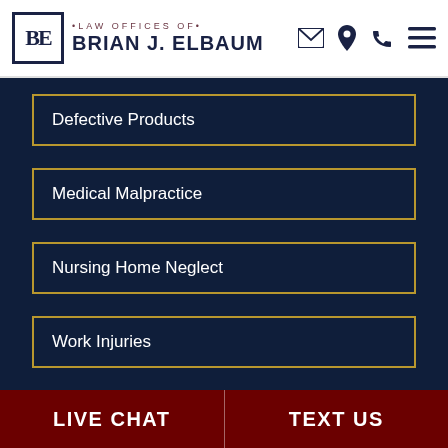LAW OFFICES OF BRIAN J. ELBAUM
Defective Products
Medical Malpractice
Nursing Home Neglect
Work Injuries
Wrongful Death
LIVE CHAT | TEXT US